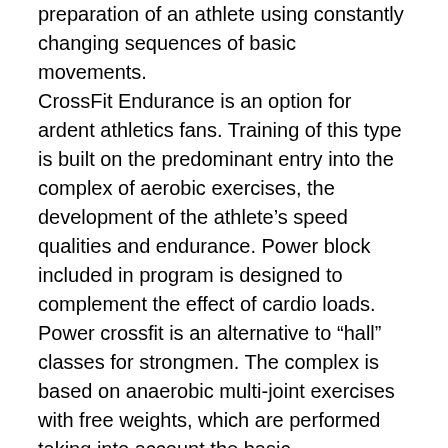that involves working on a flexible and balanced preparation of an athlete using constantly changing sequences of basic movements. CrossFit Endurance is an option for ardent athletics fans. Training of this type is built on the predominant entry into the complex of aerobic exercises, the development of the athlete's speed qualities and endurance. Power block included in program is designed to complement the effect of cardio loads. Power crossfit is an alternative to “hall” classes for strongmen. The complex is based on anaerobic multi-joint exercises with free weights, which are performed taking into account the basic requirements of the fitness system – they bring different muscle groups to work, without stopping at pumping one. CrossFit strength program includes 3 mandatory elements as standard: squats, push-pull exercises (pulls and presses) and aerobic movements.